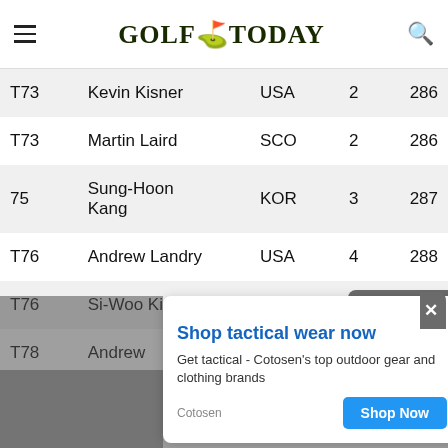Golf Today - navigation header with hamburger menu and search
| Pos | Name | Country | Score | Total |
| --- | --- | --- | --- | --- |
| T73 | Kevin Kisner | USA | 2 | 286 |
| T73 | Martin Laird | SCO | 2 | 286 |
| 75 | Sung-Hoon Kang | KOR | 3 | 287 |
| T76 | Andrew Landry | USA | 4 | 288 |
| T76 | Si-Woo Kim | KOR | 4 | 288 |
| T78 | Andrew | USA | 6 | 290 |
[Figure (other): Advertisement overlay: Shop tactical wear now - Cotosen outdoor gear and clothing brands. Shop Now button.]